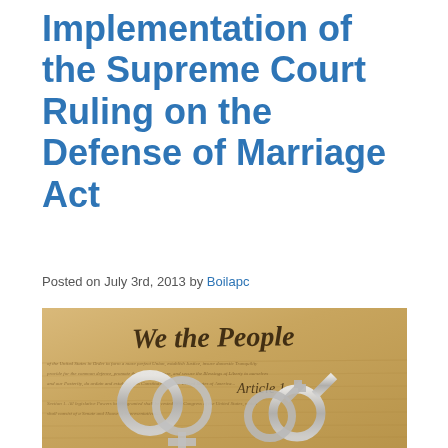Implementation of the Supreme Court Ruling on the Defense of Marriage Act
Posted on July 3rd, 2013 by Boilapc
[Figure (photo): Photo of the US Constitution 'We the People' preamble with gender symbols (female and male) rendered as silver metallic rings overlaid on the aged parchment document.]